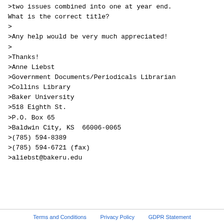>two issues combined into one at year end.
What is the correct title?
>
>Any help would be very much appreciated!
>
>Thanks!
>Anne Liebst
>Government Documents/Periodicals Librarian
>Collins Library
>Baker University
>518 Eighth St.
>P.O. Box 65
>Baldwin City, KS  66006-0065
>(785) 594-8389
>(785) 594-6721 (fax)
>aliebst@bakeru.edu
Terms and Conditions   Privacy Policy   GDPR Statement